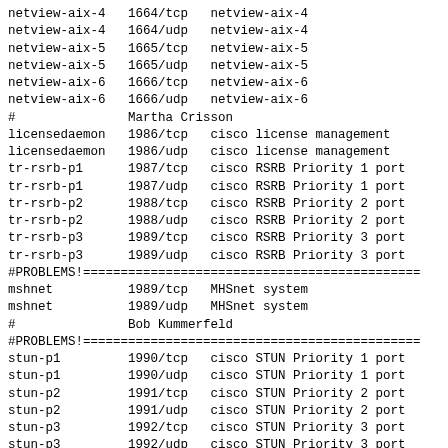netview-aix-4   1664/tcp   netview-aix-4
netview-aix-4   1664/udp   netview-aix-4
netview-aix-5   1665/tcp   netview-aix-5
netview-aix-5   1665/udp   netview-aix-5
netview-aix-6   1666/tcp   netview-aix-6
netview-aix-6   1666/udp   netview-aix-6
#               Martha Crisson
licensedaemon   1986/tcp   cisco license management
licensedaemon   1986/udp   cisco license management
tr-rsrb-p1      1987/tcp   cisco RSRB Priority 1 port
tr-rsrb-p1      1987/udp   cisco RSRB Priority 1 port
tr-rsrb-p2      1988/tcp   cisco RSRB Priority 2 port
tr-rsrb-p2      1988/udp   cisco RSRB Priority 2 port
tr-rsrb-p3      1989/tcp   cisco RSRB Priority 3 port
tr-rsrb-p3      1989/udp   cisco RSRB Priority 3 port
#PROBLEMS!=============================================
mshnet          1989/tcp   MHSnet system
mshnet          1989/udp   MHSnet system
#               Bob Kummerfeld
#PROBLEMS!=============================================
stun-p1         1990/tcp   cisco STUN Priority 1 port
stun-p1         1990/udp   cisco STUN Priority 1 port
stun-p2         1991/tcp   cisco STUN Priority 2 port
stun-p2         1991/udp   cisco STUN Priority 2 port
stun-p3         1992/tcp   cisco STUN Priority 3 port
stun-p3         1992/udp   cisco STUN Priority 3 port
#PROBLEMS!=============================================
ipsendmsg       1992/tcp   IPsendmsg
ipsendmsg       1992/udp   IPsendmsg
#               Bob Kummerfeld